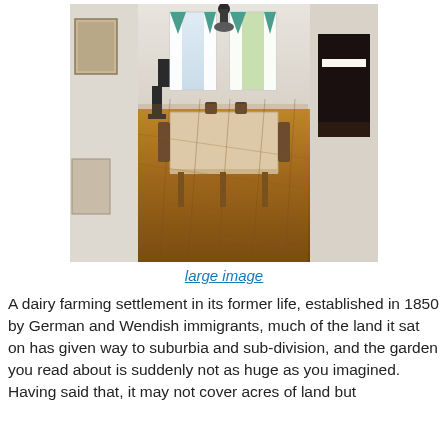[Figure (photo): Interior room of a historic house with wooden floorboards, a table with lace tablecloth, chairs, two windows with white curtains and teal triangular valances, a black upright piano on the right, framed pictures on the wall, and a pendant light fixture.]
large image
A dairy farming settlement in its former life, established in 1850 by German and Wendish immigrants, much of the land it sat on has given way to suburbia and sub-division, and the garden you read about is suddenly not as huge as you imagined. Having said that, it may not cover acres of land but